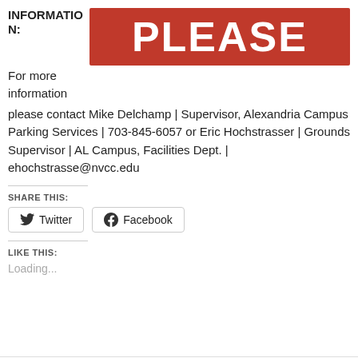INFORMATION:
[Figure (other): Red banner with white bold text reading PLEASE]
For more information please contact Mike Delchamp | Supervisor, Alexandria Campus Parking Services | 703-845-6057 or Eric Hochstrasser | Grounds Supervisor | AL Campus, Facilities Dept. | ehochstrasse@nvcc.edu
SHARE THIS:
Twitter
Facebook
LIKE THIS:
Loading...